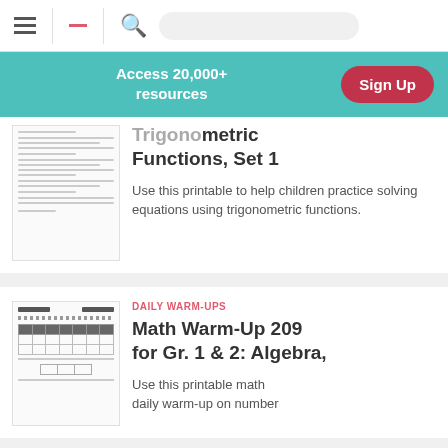Navigation bar with hamburger menu, minus icon, and search icon
Access 20,000+ resources
Sign Up
Trigonometric Functions, Set 1
Use this printable to help children practice solving equations using trigonometric functions.
DAILY WARM-UPS
Math Warm-Up 209 for Gr. 1 & 2: Algebra,
Use this printable math daily warm-up on number